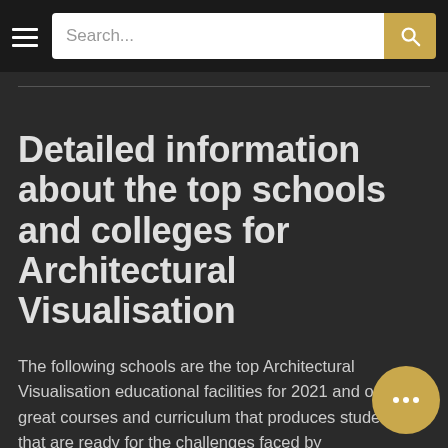Search...
Detailed information about the top schools and colleges for Architectural Visualisation
The following schools are the top Architectural Visualisation educational facilities for 2021 and offer great courses and curriculum that produces students that are ready for the challenges faced by